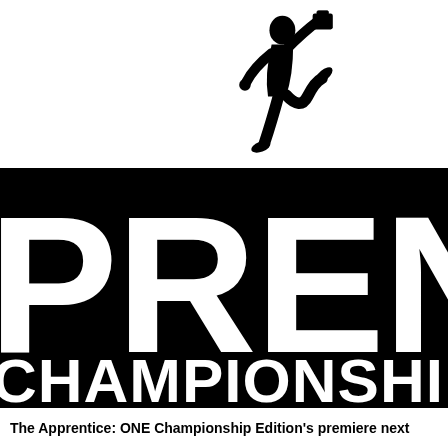[Figure (logo): The Apprentice: ONE Championship Edition logo. Shows a black silhouette of a running businessman holding a briefcase above his head, running atop large bold black letters 'PRENTI' (part of APPRENTICE, cropped). Below is a black banner with white bold text reading 'CHAMPIONSHIP ED' (part of CHAMPIONSHIP EDITION, cropped).]
The Apprentice: ONE Championship Edition's premiere next